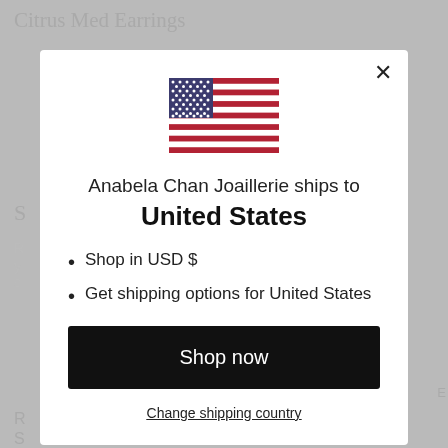[Figure (screenshot): Modal popup dialog on an e-commerce website (Anabela Chan Joaillerie). Background shows a blurred product page. The modal contains a US flag SVG, text about shipping to United States, bullet points about USD and shipping options, a black 'Shop now' button, and a 'Change shipping country' link. An X close button is in the top right of the modal.]
Anabela Chan Joaillerie ships to
United States
Shop in USD $
Get shipping options for United States
Shop now
Change shipping country